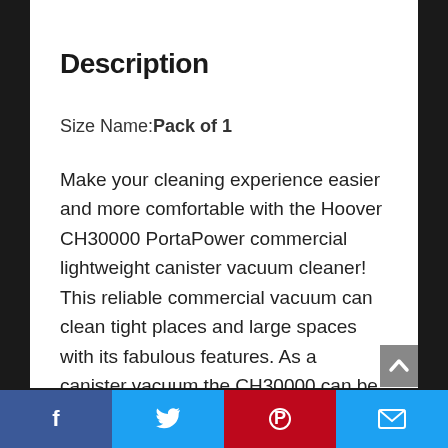Description
Size Name: Pack of 1
Make your cleaning experience easier and more comfortable with the Hoover CH30000 PortaPower commercial lightweight canister vacuum cleaner! This reliable commercial vacuum can clean tight places and large spaces with its fabulous features. As a canister vacuum the CH30000 can be used for detailing as well as to extend long distance with its 33’ power cord and Y...
Facebook | Twitter | Pinterest | Email